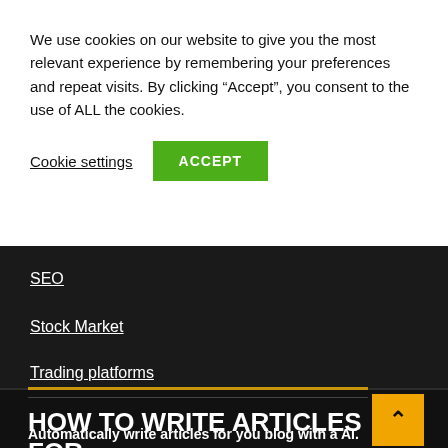We use cookies on our website to give you the most relevant experience by remembering your preferences and repeat visits. By clicking “Accept”, you consent to the use of ALL the cookies.
Cookie settings
ACCEPT
SEO
Stock Market
Trading platforms
HOW TO WRITE ARTICLES FOR YOU BLOG
Automatically write articles for you blog with a AI.